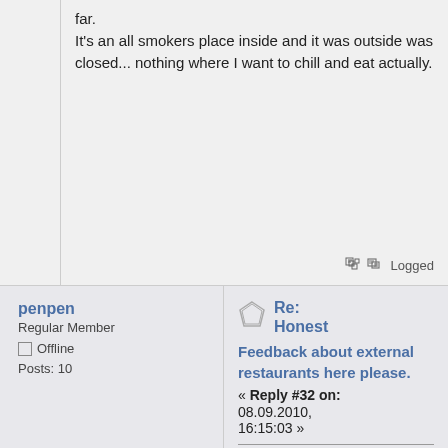far.
It's an all smokers place inside and it was outside was closed... nothing where I want to chill and eat actually.
Logged
penpen
Regular Member
Offline
Posts: 10
Re: Honest
Feedback about external restaurants here please.
« Reply #32 on: 08.09.2010, 16:15:03 »
the italian place was really really warmly.
food is really good , cheap thay made a discount. we haven't to spend a lot of time to wait

no really . a good restaurant.